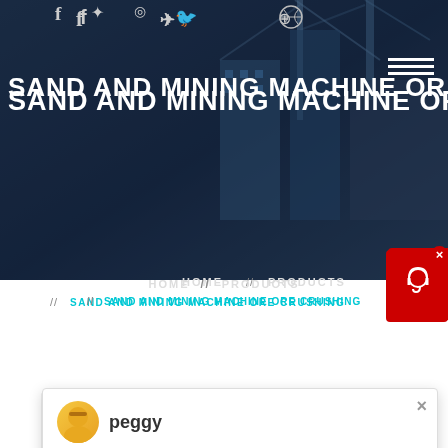[Figure (screenshot): Website screenshot showing sand and mining machine ore crushing page with dark hero background, navigation breadcrumbs, a chat popup with agent 'peggy', Latest Projects section heading, blue badge with number 1, and a construction/industrial image at bottom.]
SAND AND MINING MACHINE OR
HOME // PRODUCTS // SAND AND MINING MACHINE ORE CRUSHING
peggy
Welcome, please choose: 1.English 2.Русский
3.Francais 4.Español 5.bahasa Indonesia 6...
Latest Projects
1